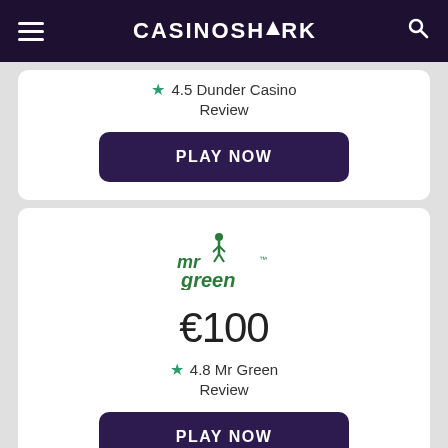CASINOSHARK
★ 4.5 Dunder Casino Review
PLAY NOW
[Figure (logo): Mr Green casino logo in green cursive text]
€100
★ 4.8 Mr Green Review
PLAY NOW